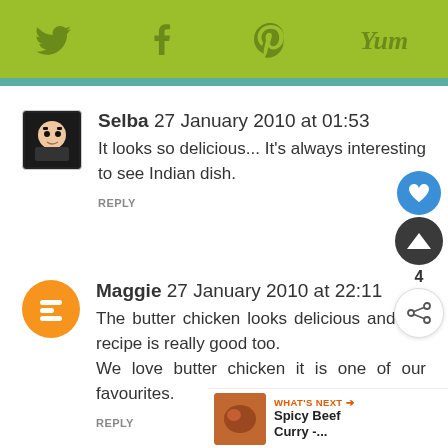[Figure (other): Social media share toolbar with Twitter, Facebook, Pinterest, and Yummly icons on olive/lime green background]
Selba  27 January 2010 at 01:53
It looks so delicious... It's always interesting to see Indian dish.
REPLY
Maggie  27 January 2010 at 22:11
The butter chicken looks delicious and the recipe is really good too. We love butter chicken it is one of our favourites.
REPLY